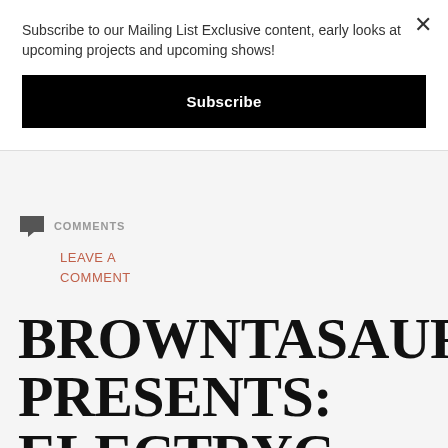Subscribe to our Mailing List Exclusive content, early looks at upcoming projects and upcoming shows!
Subscribe
COMMENTS
LEAVE A COMMENT
BROWNTASAURAS PRESENTS: ELECTRYC TRIO/SNAGGLE/MODUS FACTOR